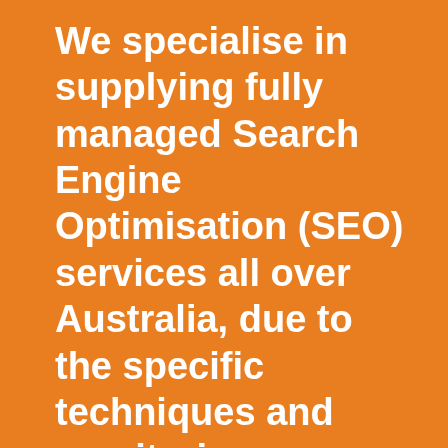We specialise in supplying fully managed Search Engine Optimisation (SEO) services all over Australia, due to the specific techniques and monitoring software we can gain lasting results in any product and service that your businesses provides within any area your business services, including Kelvinhaugh. This means that if anyone in Kelvinhaugh searches Google for your products and/or services they will see your website on the front page of Google and your